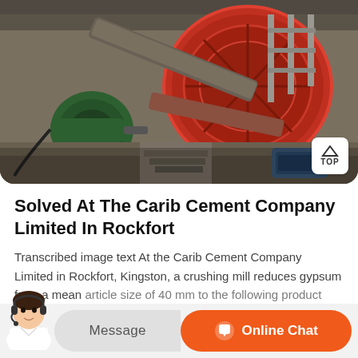[Figure (photo): Industrial cement mill machinery inside a factory building. Large red drum/ball mill with green motor on left, conveyor belt structure and pipes overhead, smaller motor at bottom right. Dusty industrial interior.]
Solved At The Carib Cement Company Limited In Rockfort
Transcribed image text At the Carib Cement Company Limited in Rockfort, Kingston, a crushing mill reduces gypsum from a mean article size of 40 mm to the following product (mm)-d1 Amount of volume mean diameter of the final product 1)